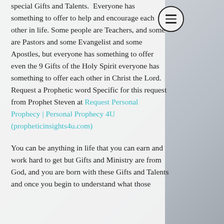special Gifts and Talents. Everyone has something to offer to help and encourage each other in life. Some people are Teachers, and some are Pastors and some Evangelist and some Apostles, but everyone has something to offer even the 9 Gifts of the Holy Spirit everyone has something to offer each other in Christ the Lord. Request a Prophetic word Specific for this request from Prophet Steven at Request Personal Prophecy | Personal Prophecy 4U (propheticinsights4u.com)
You can be anything in life that you can earn and work hard to get but Gifts and Ministry are from God, and you are born with these Gifts and Talents and once you begin to understand what those